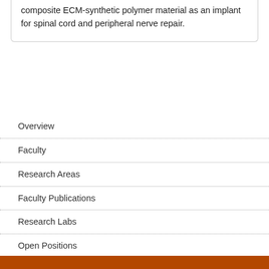composite ECM-synthetic polymer material as an implant for spinal cord and peripheral nerve repair.
Overview
Faculty
Research Areas
Faculty Publications
Research Labs
Open Positions
Lewis-Sigler Fellows